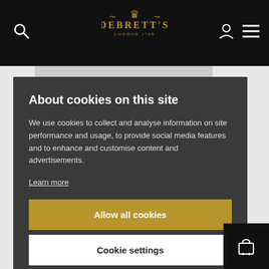Debrett's London 1769 — Navigation bar with search, logo, account, and menu icons
[Figure (logo): Debrett's logo with golden crown ornament, text 'DEBRETT'S' and 'LONDON 1769' in gold on black background]
About cookies on this site
We use cookies to collect and analyse information on site performance and usage, to provide social media features and to enhance and customise content and advertisements.
Learn more
Allow all cookies
Cookie settings